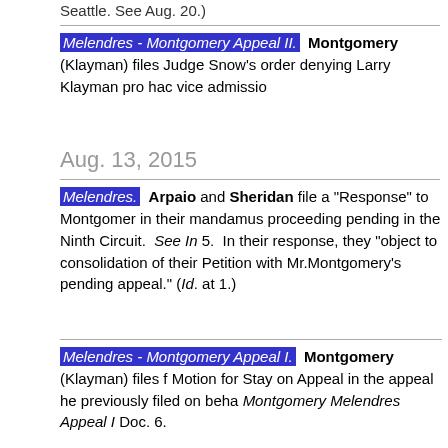Seattle. See Aug. 20.)
Melendres - Montgomery Appeal II. Montgomery (Klayman) files Judge Snow's order denying Larry Klayman pro hac vice admission
Aug. 13, 2015
Melendres. Arpaio and Sheridan file a "Response" to Montgomery in their mandamus proceeding pending in the Ninth Circuit. See In 5. In their response, they "object to consolidation of their Petition with Mr.Montgomery's pending appeal." (Id. at 1.)
Melendres - Montgomery Appeal I. Montgomery (Klayman) files Motion for Stay on Appeal in the appeal he previously filed on behalf Montgomery Melendres Appeal I Doc. 6.
Aug. 14, 2015
Montgomery v. Risen. Defendants file a Motion to Modify Schedule